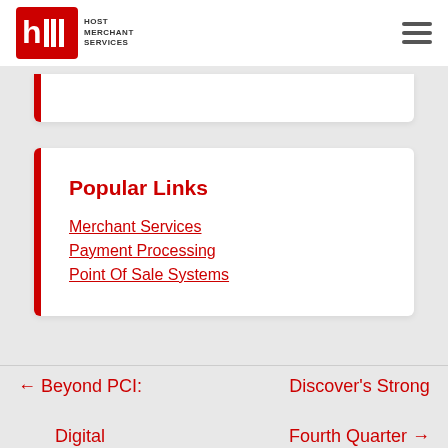Host Merchant Services
Popular Links
Merchant Services
Payment Processing
Point Of Sale Systems
← Beyond PCI: Digital Downloads and
Discover's Strong Fourth Quarter →